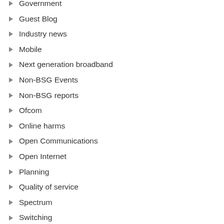Government
Guest Blog
Industry news
Mobile
Next generation broadband
Non-BSG Events
Non-BSG reports
Ofcom
Online harms
Open Communications
Open Internet
Planning
Quality of service
Spectrum
Switching